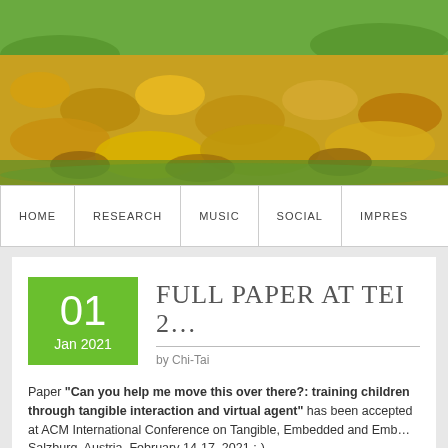[Figure (photo): Autumn leaves (yellow, orange, brown) covering a grassy path outdoors]
HOME | RESEARCH | MUSIC | SOCIAL | IMPRES…
FULL PAPER AT TEI 2…
by Chi-Tai
Paper "Can you help me move this over there?: training children through tangible interaction and virtual agent" has been accepted at ACM International Conference on Tangible, Embedded and Emb… Salzburg, Austria, February 14-17, 2021 :-)